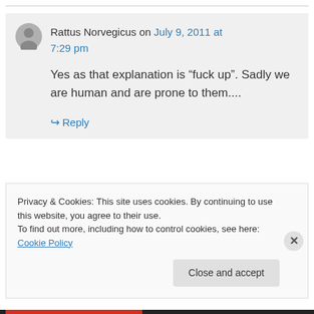Rattus Norvegicus on July 9, 2011 at 7:29 pm
Yes as that explanation is “fuck up". Sadly we are human and are prone to them....
↪ Reply
Privacy & Cookies: This site uses cookies. By continuing to use this website, you agree to their use.
To find out more, including how to control cookies, see here: Cookie Policy
Close and accept